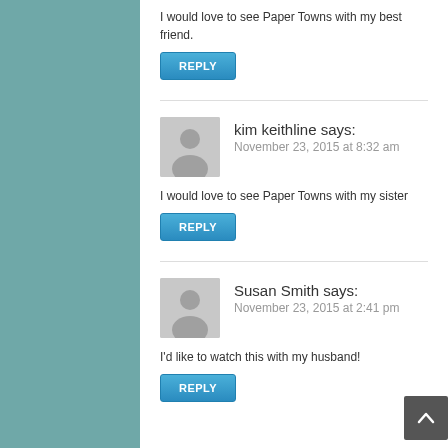I would love to see Paper Towns with my best friend.
REPLY
kim keithline says:
November 23, 2015 at 8:32 am
I would love to see Paper Towns with my sister
REPLY
Susan Smith says:
November 23, 2015 at 2:41 pm
I'd like to watch this with my husband!
REPLY